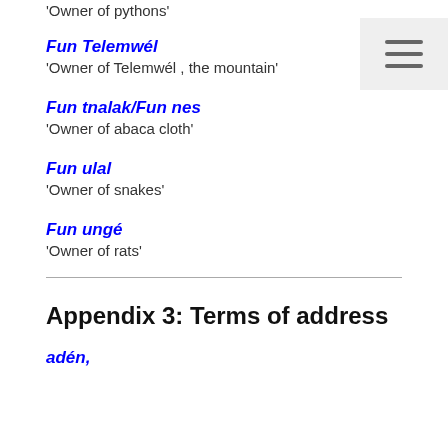'Owner of pythons'
Fun Telemwél
'Owner of Telemwél , the mountain'
Fun tnalak/Fun nes
'Owner of abaca cloth'
Fun ulal
'Owner of snakes'
Fun ungé
'Owner of rats'
Appendix 3: Terms of address
adén,